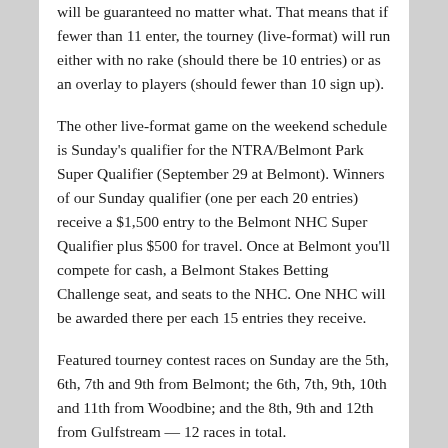will be guaranteed no matter what. That means that if fewer than 11 enter, the tourney (live-format) will run either with no rake (should there be 10 entries) or as an overlay to players (should fewer than 10 sign up).
The other live-format game on the weekend schedule is Sunday's qualifier for the NTRA/Belmont Park Super Qualifier (September 29 at Belmont). Winners of our Sunday qualifier (one per each 20 entries) receive a $1,500 entry to the Belmont NHC Super Qualifier plus $500 for travel. Once at Belmont you'll compete for cash, a Belmont Stakes Betting Challenge seat, and seats to the NHC. One NHC will be awarded there per each 15 entries they receive.
Featured tourney contest races on Sunday are the 5th, 6th, 7th and 9th from Belmont; the 6th, 7th, 9th, 10th and 11th from Woodbine; and the 8th, 9th and 12th from Gulfstream — 12 races in total.
Before we close, we want to send out good wishes to